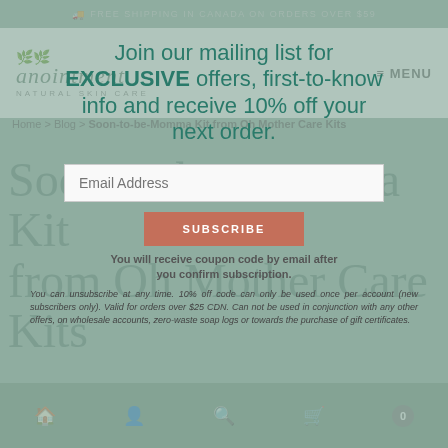🚚 FREE SHIPPING IN CANADA ON ORDERS OVER $59
[Figure (screenshot): Anointment Natural Skin Care logo with leaf icons]
≡ MENU
Home > Blog > Soon-to-be-Momma Kit from Oh Mother Care Kits
Join our mailing list for EXCLUSIVE offers, first-to-know info and receive 10% off your next order.
Email Address
SUBSCRIBE
You will receive coupon code by email after you confirm subscription.
You can unsubscribe at any time. 10% off code can only be used once per account (new subscribers only). Valid for orders over $25 CDN. Can not be used in conjunction with any other offers, on wholesale accounts, zero-waste soap logs or towards the purchase of gift certificates.
Soon-to-be-Momma Kit from Oh Mother Care Kits